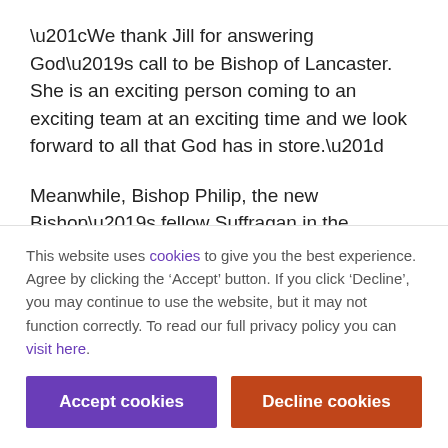“We thank Jill for answering God’s call to be Bishop of Lancaster. She is an exciting person coming to an exciting team at an exciting time and we look forward to all that God has in store.”
Meanwhile, Bishop Philip, the new Bishop’s fellow Suffragan in the Diocese added: “This has been the most fantastic day for Jill, her family, her friends and for everyone in our Diocese...
This website uses cookies to give you the best experience. Agree by clicking the ‘Accept’ button. If you click ‘Decline’, you may continue to use the website, but it may not function correctly. To read our full privacy policy you can visit here.